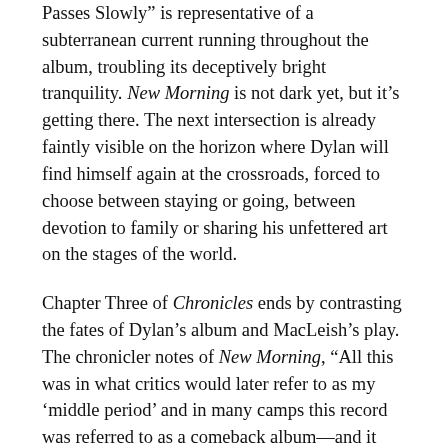Passes Slowly" is representative of a subterranean current running throughout the album, troubling its deceptively bright tranquility. New Morning is not dark yet, but it's getting there. The next intersection is already faintly visible on the horizon where Dylan will find himself again at the crossroads, forced to choose between staying or going, between devotion to family or sharing his unfettered art on the stages of the world.
Chapter Three of Chronicles ends by contrasting the fates of Dylan's album and MacLeish's play. The chronicler notes of New Morning, "All this was in what critics would later refer to as my 'middle period' and in many camps this record was referred to as a comeback album—and it was. It would be the first of many" (141). On the other hand, the